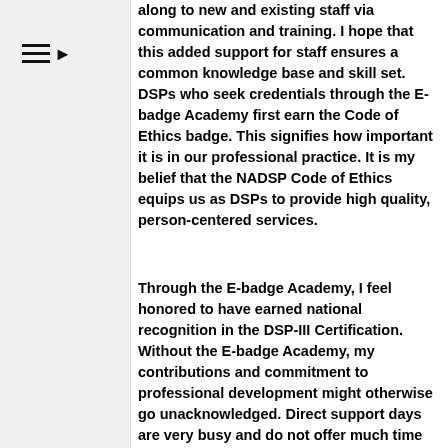along to new and existing staff via communication and training. I hope that this added support for staff ensures a common knowledge base and skill set. DSPs who seek credentials through the E-badge Academy first earn the Code of Ethics badge. This signifies how important it is in our professional practice. It is my belief that the NADSP Code of Ethics equips us as DSPs to provide high quality, person-centered services.
Through the E-badge Academy, I feel honored to have earned national recognition in the DSP-III Certification. Without the E-badge Academy, my contributions and commitment to professional development might otherwise go unacknowledged. Direct support days are very busy and do not offer much time for reflection. With the submission of each E-badge, deliberate reflection on how knowledge, skills, and values are put into practice is encouraged.